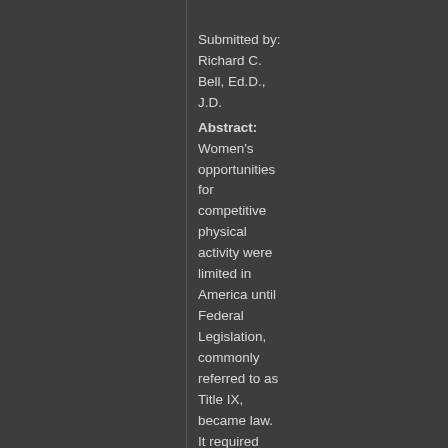Submitted by: Richard C. Bell, Ed.D., J.D.
Abstract: Women's opportunities for competitive physical activity were limited in America until Federal Legislation, commonly referred to as Title IX, became law. It required American society to recognize a